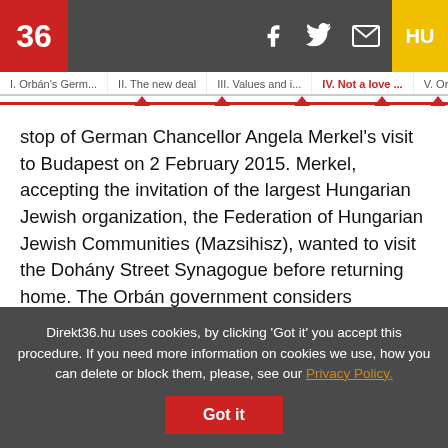36 | HU
I. Orbán's Germ... | II. The new deal | III. Values and i... | IV. Not a love ... | V. Orbán's pro
stop of German Chancellor Angela Merkel's visit to Budapest on 2 February 2015. Merkel, accepting the invitation of the largest Hungarian Jewish organization, the Federation of Hungarian Jewish Communities (Mazsihisz), wanted to visit the Dohány Street Synagogue before returning home. The Orbán government considers Mazsihisz to be a critical organization, not least because they frequently raised the issue of anti-Semitism appearing in pro-government circles. (We wrote about the Hungarian-Israeli relationship and the role of the Hungarian Jewish
Direkt36.hu uses cookies, by clicking 'Got it' you accept this procedure. If you need more information on cookies we use, how you can delete or block them, please, see our Privacy Policy. Got it